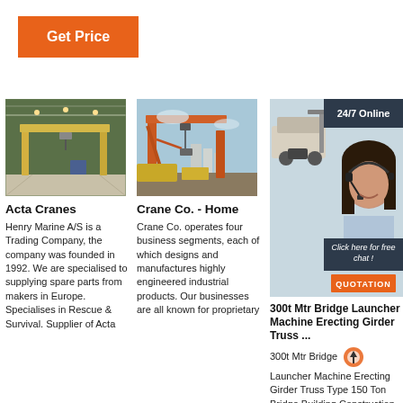Get Price
[Figure (photo): Indoor overhead gantry crane in industrial warehouse with yellow beams and concrete floor]
[Figure (photo): Outdoor orange gantry crane at a construction or shipyard site]
[Figure (photo): Customer service representative with headset; 24/7 Online overlay banner with Click here for free chat and QUOTATION button]
Acta Cranes
Henry Marine A/S is a Trading Company, the company was founded in 1992. We are specialised to supplying spare parts from makers in Europe. Specialises in Rescue & Survival. Supplier of Acta
Crane Co. - Home
Crane Co. operates four business segments, each of which designs and manufactures highly engineered industrial products. Our businesses are all known for proprietary
300t Mtr Bridge Launcher Machine Erecting Girder Truss ...
300t Mtr Bridge Launcher Machine Erecting Girder Truss Type 150 Ton Bridge Building Construction Launching Gantry